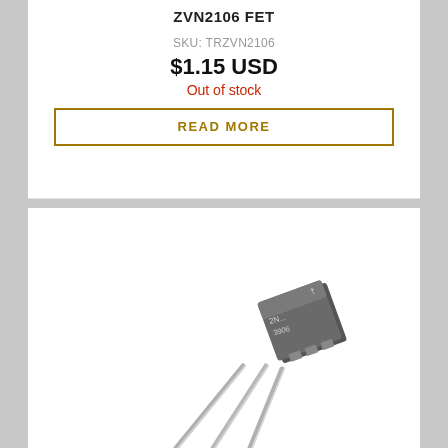ZVN2106 FET
SKU: TRZVN2106
$1.15 USD
Out of stock
READ MORE
[Figure (photo): ZVN2106 FET transistor component with three metal leads and a small rectangular gray body marked with text, photographed on white background]